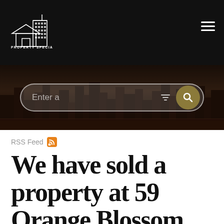Property Specialties
[Figure (screenshot): Hero section with city skyline night background and search bar with filter icon and search button]
RSS Feed
We have sold a property at 59 Orange Blossom Circle in Ladera